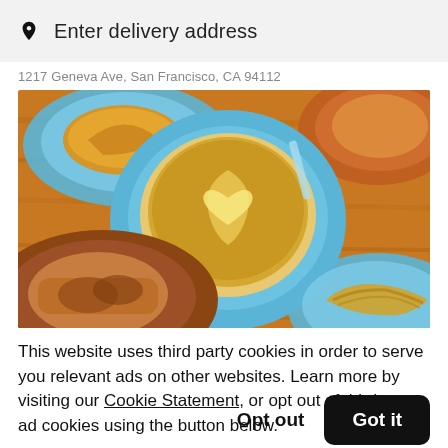Enter delivery address
1217 Geneva Ave, San Francisco, CA 94112
[Figure (photo): Overhead view of coffee drinks with latte art and pastries on blue plates on a wooden table]
This website uses third party cookies in order to serve you relevant ads on other websites. Learn more by visiting our Cookie Statement, or opt out of third party ad cookies using the button below.
Opt out
Got it